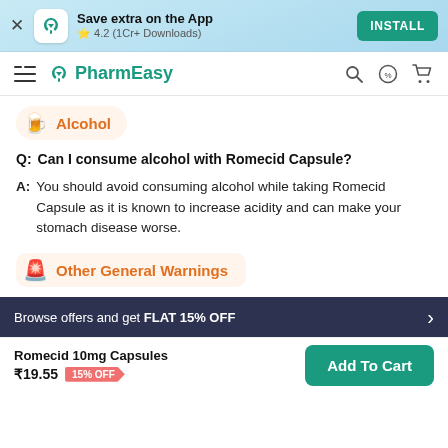Save extra on the App ★ 4.2 (1Cr+ Downloads) INSTALL
PharmEasy
Alcohol
Q: Can I consume alcohol with Romecid Capsule?
A: You should avoid consuming alcohol while taking Romecid Capsule as it is known to increase acidity and can make your stomach disease worse.
Other General Warnings
Browse offers and get FLAT 15% OFF
Romecid 10mg Capsules ₹19.55 15% OFF Add To Cart